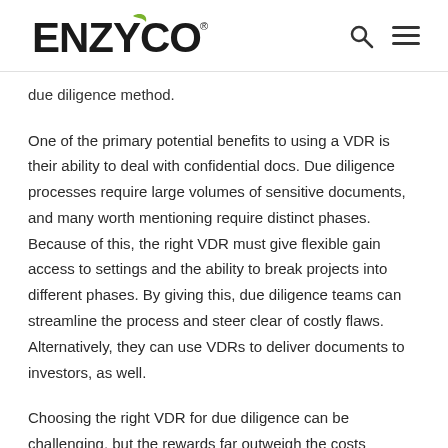ENZYCO
due diligence method.
One of the primary potential benefits to using a VDR is their ability to deal with confidential docs. Due diligence processes require large volumes of sensitive documents, and many worth mentioning require distinct phases. Because of this, the right VDR must give flexible gain access to settings and the ability to break projects into different phases. By giving this, due diligence teams can streamline the process and steer clear of costly flaws. Alternatively, they can use VDRs to deliver documents to investors, as well.
Choosing the right VDR for due diligence can be challenging, but the rewards far outweigh the costs